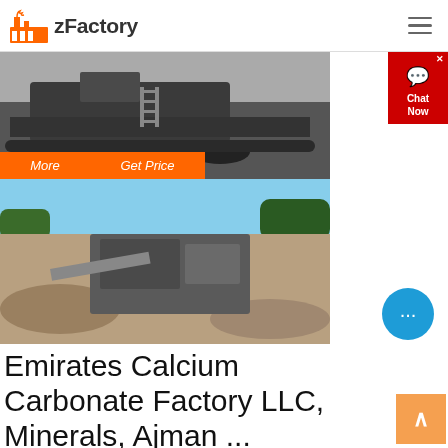zFactory
[Figure (photo): Industrial crushing/mining equipment on tracks, dark tones, top image]
[Figure (photo): Mobile stone crusher at a quarry site with blue sky and rocky terrain, bottom image]
Emirates Calcium Carbonate Factory LLC, Minerals, Ajman ...
Emirates Calcium Carbonate Factory LLC Phone and Map of Address: Shed # 4, New Industrial